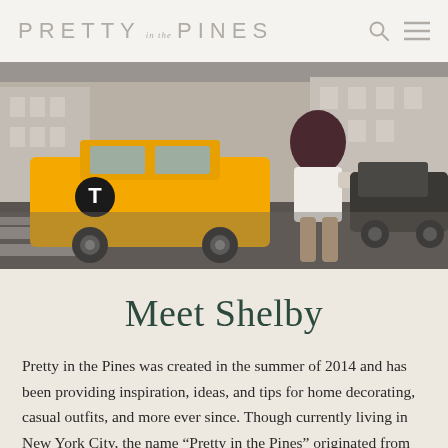PRETTY IN THE PINES
[Figure (photo): Street scene in New York City showing a yellow taxi cab and a woman in white shorts and dark top standing at a crosswalk]
Meet Shelby
Pretty in the Pines was created in the summer of 2014 and has been providing inspiration, ideas, and tips for home decorating, casual outfits, and more ever since. Though currently living in New York City, the name “Pretty in the Pines” originated from my home state of